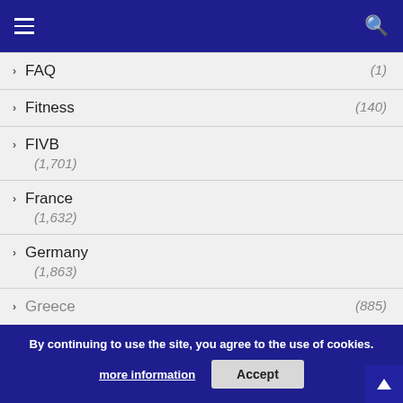Navigation header with menu and search icons
FAQ (1)
Fitness (140)
FIVB (1,701)
France (1,632)
Germany (1,863)
Greece (885)
Injuries (2)
By continuing to use the site, you agree to the use of cookies. more information  Accept